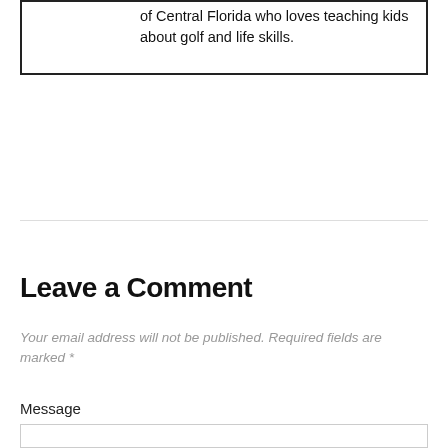also a proud coach with The First Tee of Central Florida who loves teaching kids about golf and life skills.
Leave a Comment
Your email address will not be published. Required fields are marked *
Message